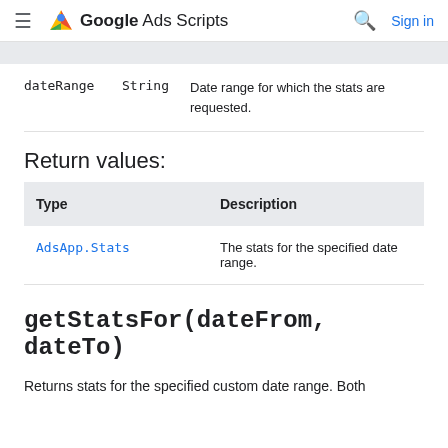Google Ads Scripts
| Name | Type | Description |
| --- | --- | --- |
| dateRange | String | Date range for which the stats are requested. |
Return values:
| Type | Description |
| --- | --- |
| AdsApp.Stats | The stats for the specified date range. |
getStatsFor(dateFrom, dateTo)
Returns stats for the specified custom date range. Both